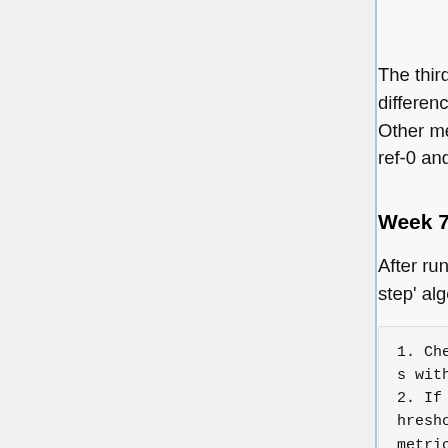The third method, average slope, keeps a moving average of the difference between ref-0 and ref-1 in the same manner as the first method. Other metrics can be used in a similar fashion. For example a ratio between ref-0 and ref-1 could be used.
Week 7
After running some of my ideas past Dark_Shikari he advised me to try his '4 step' algorithm:
1. Check all possibilities with $fastmetric
2. If better than $closethreshold, check with $slowmetric
3. If worse than $farthreshold, don't check at all